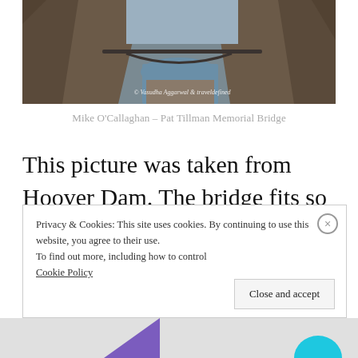[Figure (photo): Aerial view of a river canyon (Hoover Dam area) with rocky cliffs and a waterway below. Watermark reads '© Vasudha Aggarwal & traveldefined']
Mike O'Callaghan – Pat Tillman Memorial Bridge
This picture was taken from Hoover Dam. The bridge fits so well in the entire frame, as if it had always been there. And it also affords great views of the majestic Dam and Colorado
Privacy & Cookies: This site uses cookies. By continuing to use this website, you agree to their use.
To find out more, including how to control
Cookie Policy
Close and accept